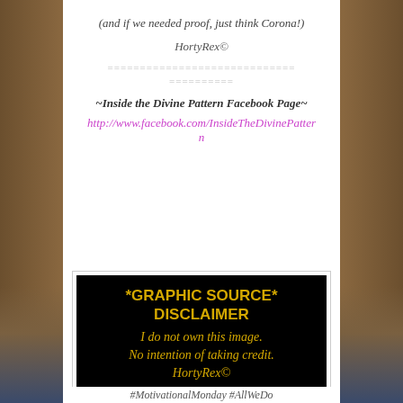(and if we needed proof, just think Corona!)
HortyRex©
============================= ==========
~Inside the Divine Pattern Facebook Page~
http://www.facebook.com/InsideTheDivinePattern
[Figure (other): Black background disclaimer box with gold text: *GRAPHIC SOURCE* DISCLAIMER I do not own this image. No intention of taking credit. HortyRex©]
#MotivationalMonday #AllWeDo